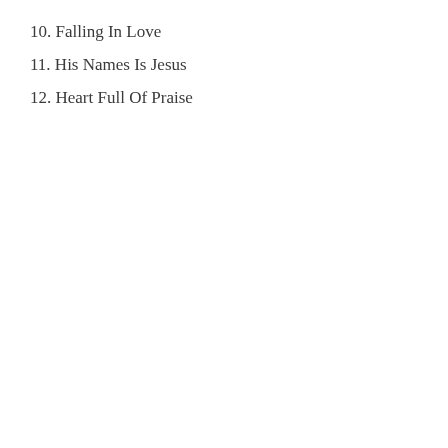10. Falling In Love
11. His Names Is Jesus
12. Heart Full Of Praise